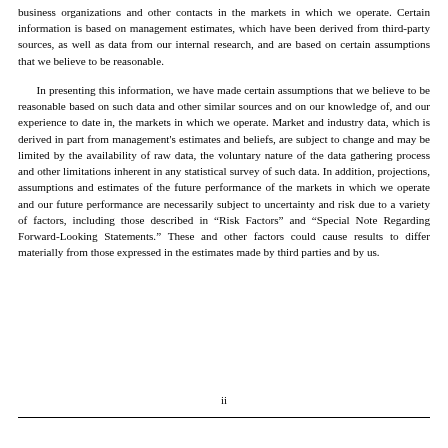business organizations and other contacts in the markets in which we operate. Certain information is based on management estimates, which have been derived from third-party sources, as well as data from our internal research, and are based on certain assumptions that we believe to be reasonable.
In presenting this information, we have made certain assumptions that we believe to be reasonable based on such data and other similar sources and on our knowledge of, and our experience to date in, the markets in which we operate. Market and industry data, which is derived in part from management's estimates and beliefs, are subject to change and may be limited by the availability of raw data, the voluntary nature of the data gathering process and other limitations inherent in any statistical survey of such data. In addition, projections, assumptions and estimates of the future performance of the markets in which we operate and our future performance are necessarily subject to uncertainty and risk due to a variety of factors, including those described in “Risk Factors” and “Special Note Regarding Forward-Looking Statements.” These and other factors could cause results to differ materially from those expressed in the estimates made by third parties and by us.
ii